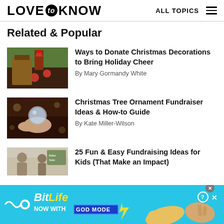LOVE to KNOW | ALL TOPICS
Related & Popular
[Figure (photo): Christmas decorations including a Santa figure, greenery, and red ornaments in a box]
Ways to Donate Christmas Decorations to Bring Holiday Cheer
By Mary Gormandy White
[Figure (photo): Hands holding a glass Christmas ornament with bokeh lights in background]
Christmas Tree Ornament Fundraiser Ideas & How-to Guide
By Kate Miller-Wilson
[Figure (photo): Children in a classroom setting, partially visible]
25 Fun & Easy Fundraising Ideas for Kids (That Make an Impact)
[Figure (screenshot): BitLife advertisement banner: BitLife - Now with GOD MODE, with hand/pointing graphic on cyan background]